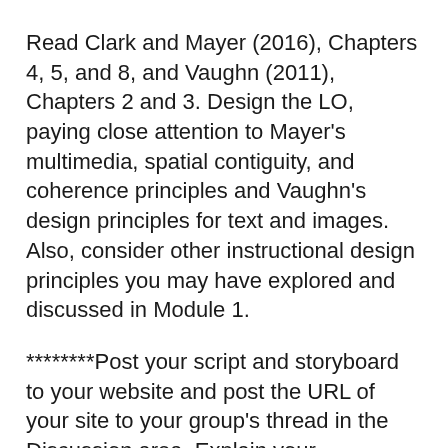Read Clark and Mayer (2016), Chapters 4, 5, and 8, and Vaughn (2011), Chapters 2 and 3. Design the LO, paying close attention to Mayer's multimedia, spatial contiguity, and coherence principles and Vaughn's design principles for text and images. Also, consider other instructional design principles you may have explored and discussed in Module 1.
********Post your script and storyboard to your website and post the URL of your site to your group's thread in the Discussion area. Explain your instructional design and graphic design choices in detail. Explain how the text and graphics work together to apply the principles of multimedia, spatial contiguity, and